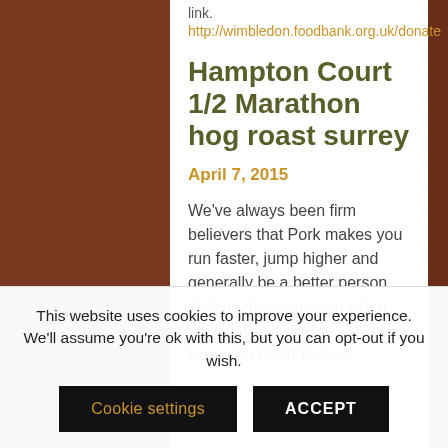link:
http://wimbledon.foodbank.org.uk/donate
Hampton Court 1/2 Marathon hog roast surrey
April 7, 2015
We've always been firm believers that Pork makes you run faster, jump higher and generally be a better person. This point was proven when we did a hog roast surrey at Hampton Court Palace
This website uses cookies to improve your experience. We'll assume you're ok with this, but you can opt-out if you wish.
Cookie settings
ACCEPT